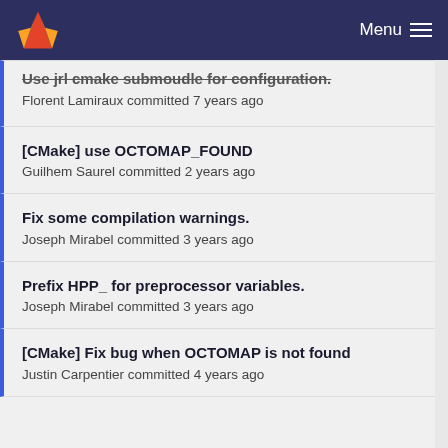Menu
Use jrl cmake submoudle for configuration
Florent Lamiraux committed 7 years ago
[CMake] use OCTOMAP_FOUND
Guilhem Saurel committed 2 years ago
Fix some compilation warnings.
Joseph Mirabel committed 3 years ago
Prefix HPP_ for preprocessor variables.
Joseph Mirabel committed 3 years ago
[CMake] Fix bug when OCTOMAP is not found
Justin Carpentier committed 4 years ago